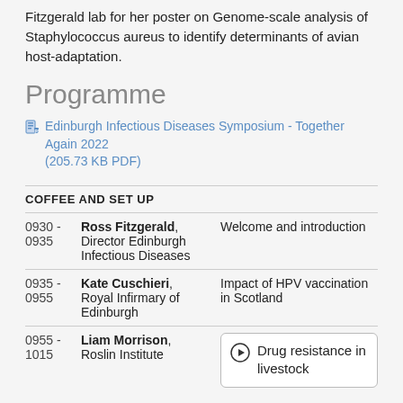Fitzgerald lab for her poster on Genome-scale analysis of Staphylococcus aureus to identify determinants of avian host-adaptation.
Programme
Edinburgh Infectious Diseases Symposium - Together Again 2022 (205.73 KB PDF)
| Time | Speaker | Description |
| --- | --- | --- |
| COFFEE AND SET UP |  |  |
| 0930 - 0935 | Ross Fitzgerald, Director Edinburgh Infectious Diseases | Welcome and introduction |
| 0935 - 0955 | Kate Cuschieri, Royal Infirmary of Edinburgh | Impact of HPV vaccination in Scotland |
| 0955 - 1015 | Liam Morrison, Roslin Institute | Drug resistance in livestock |